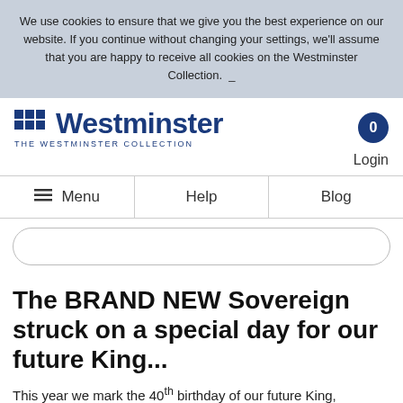We use cookies to ensure that we give you the best experience on our website. If you continue without changing your settings, we'll assume that you are happy to receive all cookies on the Westminster Collection.
Westminster — The Westminster Collection
Login
Menu   Help   Blog
The BRAND NEW Sovereign struck on a special day for our future King...
This year we mark the 40th birthday of our future King,